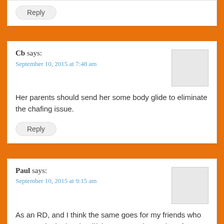Reply
Cb says:
September 10, 2015 at 7:48 am

Her parents should send her some body glide to eliminate the chafing issue.

Reply
Paul says:
September 10, 2015 at 9:15 am

As an RD, and I think the same goes for my friends who are RDs in the local trail/ultra community, we lose far more sleep worrying about runner safety, course markings, vandalism,